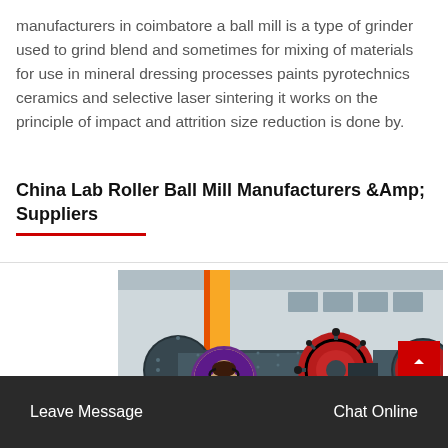manufacturers in coimbatore a ball mill is a type of grinder used to grind blend and sometimes for mixing of materials for use in mineral dressing processes paints pyrotechnics ceramics and selective laser sintering it works on the principle of impact and attrition size reduction is done by.
China Lab Roller Ball Mill Manufacturers &Amp; Suppliers
[Figure (photo): Industrial ball mills in a factory setting, showing large cylindrical grinding machines with black barrels and red gear wheels, positioned on metal frames outdoors near a warehouse building.]
Leave Message   Chat Online